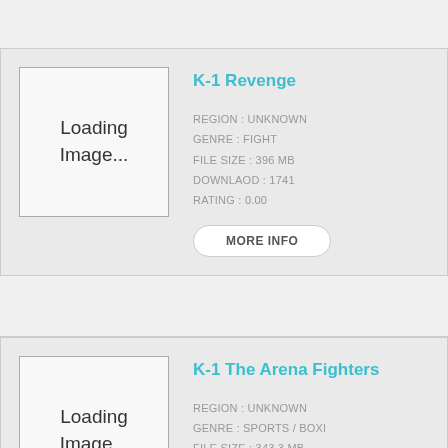K-1 Revenge
REGION : UNKNOWN
GENRE : FIGHT
FILE SIZE : 396 MB
DOWNLAOD : 1741
RATING : 0.00
MORE INFO
[Figure (other): Loading image placeholder box with text 'Loading Image...']
K-1 The Arena Fighters
REGION : UNKNOWN
GENRE : SPORTS / BOXI
FILE SIZE : 343,3 MB
[Figure (other): Loading image placeholder box with text 'Loading Image...']